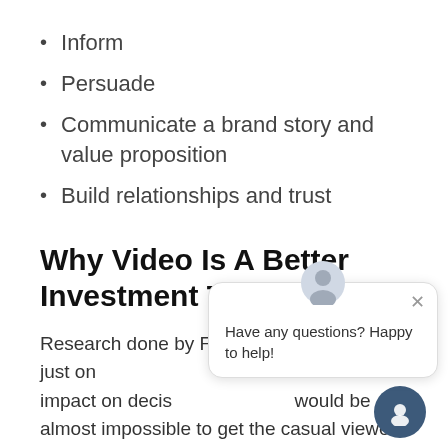Inform
Persuade
Communicate a brand story and value proposition
Build relationships and trust
Why Video Is A Better Investment Than Words?
Research done by Forr… estimates that just one… same impact on decis… would be almost impossible to get the casual viewer to sit down and read that many words about your product or service. This is especially important when you consider that a recent